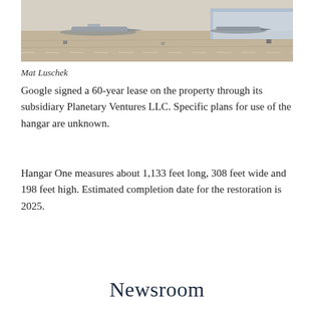[Figure (photo): Aerial tarmac/runway scene with aircraft and a large hangar building in the background, viewed at low angle]
Mat Luschek
Google signed a 60-year lease on the property through its subsidiary Planetary Ventures LLC. Specific plans for use of the hangar are unknown.
Hangar One measures about 1,133 feet long, 308 feet wide and 198 feet high. Estimated completion date for the restoration is 2025.
Newsroom